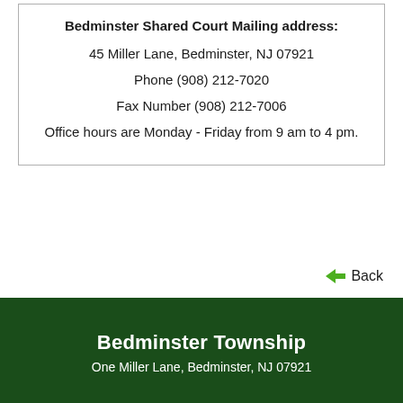Bedminster Shared Court Mailing address:
45 Miller Lane, Bedminster, NJ 07921
Phone (908) 212-7020
Fax Number (908) 212-7006
Office hours are Monday - Friday from 9 am to 4 pm.
Back
Bedminster Township
One Miller Lane, Bedminster, NJ 07921